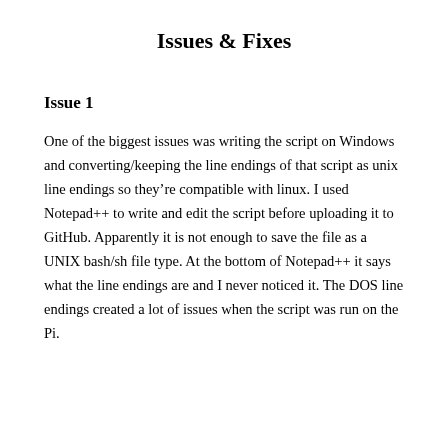Issues & Fixes
Issue 1
One of the biggest issues was writing the script on Windows and converting/keeping the line endings of that script as unix line endings so they're compatible with linux. I used Notepad++ to write and edit the script before uploading it to GitHub. Apparently it is not enough to save the file as a UNIX bash/sh file type. At the bottom of Notepad++ it says what the line endings are and I never noticed it. The DOS line endings created a lot of issues when the script was run on the Pi.